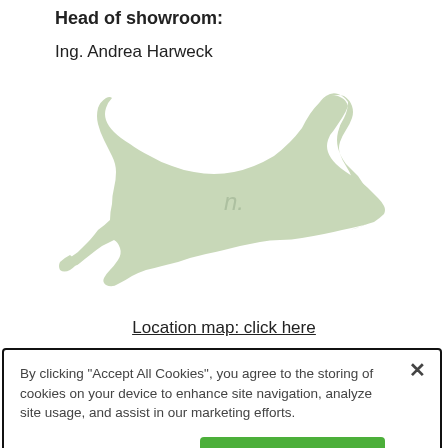Head of showroom:
Ing. Andrea Harweck
[Figure (map): Outline map of Austria in light olive/green color, showing the shape of the country with a partial letter 'n.' visible in the center region.]
Location map: click here
By clicking "Accept All Cookies", you agree to the storing of cookies on your device to enhance site navigation, analyze site usage, and assist in our marketing efforts.
Cookies Settings
Accept All Cookies